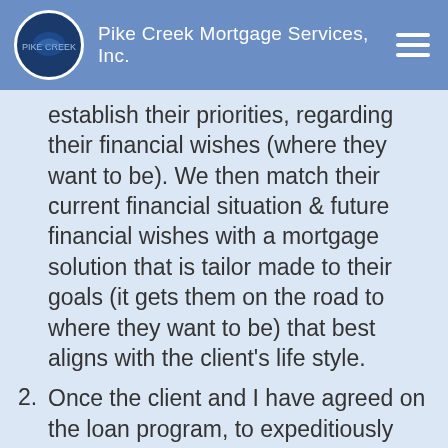Pike Creek Mortgage Services, Inc.
establish their priorities, regarding their financial wishes (where they want to be). We then match their current financial situation & future financial wishes with a mortgage solution that is tailor made to their goals (it gets them on the road to where they want to be) that best aligns with the client's life style.
2. Once the client and I have agreed on the loan program, to expeditiously close the transaction with the least amount of inconvenience.
3. Once the loan closes, our job truly begins. Through consistent application of my database, I stay in touch with